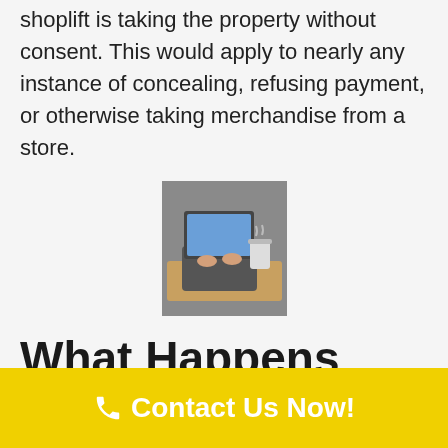shoplift is taking the property without consent. This would apply to nearly any instance of concealing, refusing payment, or otherwise taking merchandise from a store.
[Figure (photo): A person working at a laptop computer, viewed from above/side angle]
What Happens When You Are Convicted of Shoplifting?
Contact Us Now!